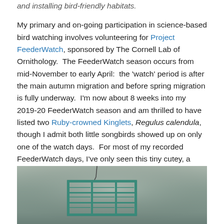and installing bird-friendly habitats.

My primary and on-going participation in science-based bird watching involves volunteering for Project FeederWatch, sponsored by The Cornell Lab of Ornithology.  The FeederWatch season occurs from mid-November to early April:  the 'watch' period is after the main autumn migration and before spring migration is fully underway.  I'm now about 8 weeks into my 2019-20 FeederWatch season and am thrilled to have listed two Ruby-crowned Kinglets, Regulus calendula, though I admit both little songbirds showed up on only one of the watch days.  For most of my recorded FeederWatch days, I've only seen this tiny cutey, a female Ruby-crowned Kinglet.
[Figure (photo): Photograph of a teal/green metal bird feeder cage with grid structure, hanging against a blurred grey-green background.]